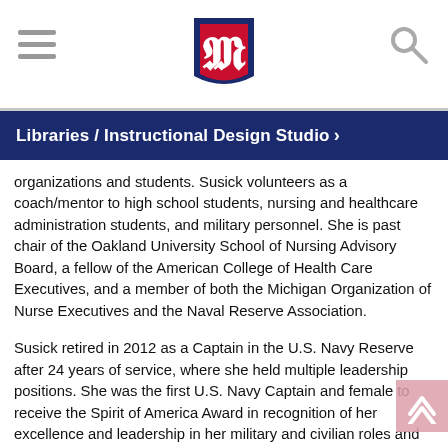Libraries / Instructional Design Studio
organizations and students. Susick volunteers as a coach/mentor to high school students, nursing and healthcare administration students, and military personnel. She is past chair of the Oakland University School of Nursing Advisory Board, a fellow of the American College of Health Care Executives, and a member of both the Michigan Organization of Nurse Executives and the Naval Reserve Association.
Susick retired in 2012 as a Captain in the U.S. Navy Reserve after 24 years of service, where she held multiple leadership positions. She was the first U.S. Navy Captain and female to receive the Spirit of America Award in recognition of her excellence and leadership in her military and civilian roles and her contributions to her